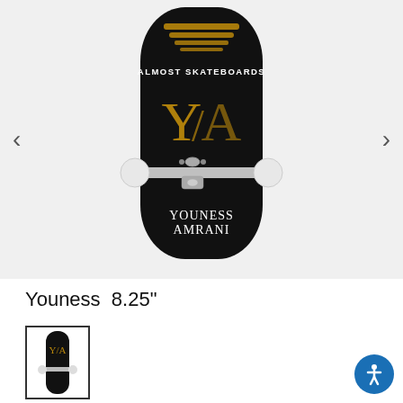[Figure (photo): Almost Skateboards Youness Amrani complete skateboard with black deck featuring gold Y/A logo and 'ALMOST SKATEBOARDS' text, with white wheels and silver trucks, viewed from below/back]
Youness  8.25"
[Figure (photo): Small thumbnail image of the Youness Amrani Almost Skateboards complete skateboard]